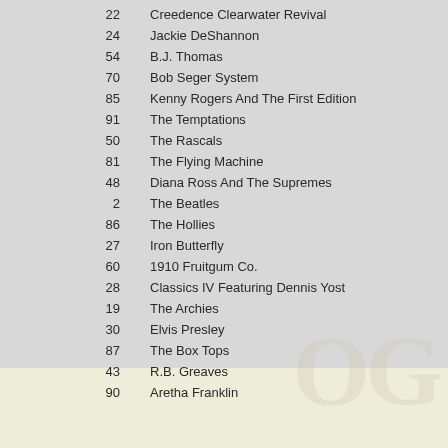| Number | Artist |
| --- | --- |
| 22 | Creedence Clearwater Revival |
| 24 | Jackie DeShannon |
| 54 | B.J. Thomas |
| 70 | Bob Seger System |
| 85 | Kenny Rogers And The First Edition |
| 91 | The Temptations |
| 50 | The Rascals |
| 81 | The Flying Machine |
| 48 | Diana Ross And The Supremes |
| 2 | The Beatles |
| 86 | The Hollies |
| 27 | Iron Butterfly |
| 60 | 1910 Fruitgum Co. |
| 28 | Classics IV Featuring Dennis Yost |
| 19 | The Archies |
| 30 | Elvis Presley |
| 87 | The Box Tops |
| 43 | R.B. Greaves |
| 90 | Aretha Franklin |